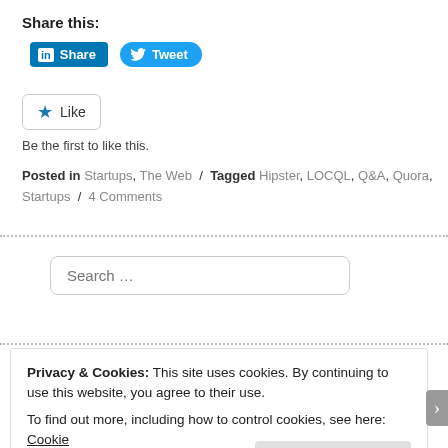Share this:
[Figure (screenshot): LinkedIn Share button (blue rounded rectangle with 'in' icon and 'Share' text) and Twitter Tweet button (blue pill-shaped with bird icon and 'Tweet' text)]
[Figure (screenshot): Like button: star icon with 'Like' text in a rounded rectangle border]
Be the first to like this.
Posted in Startups, The Web / Tagged Hipster, LOCQL, Q&A, Quora, Startups / 4 Comments
[Figure (screenshot): Search input box with placeholder text 'Search …']
Privacy & Cookies: This site uses cookies. By continuing to use this website, you agree to their use.
To find out more, including how to control cookies, see here: Cookie Policy
Close and accept